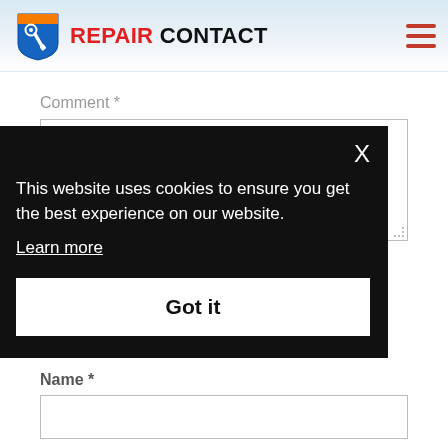[Figure (logo): Repair Contact logo with wrench icon and red/orange shield graphic]
Comment *
[Figure (screenshot): Cookie consent banner overlay on black background with close X button, message 'This website uses cookies to ensure you get the best experience on our website.', 'Learn more' link, and 'Got it' button]
Name *